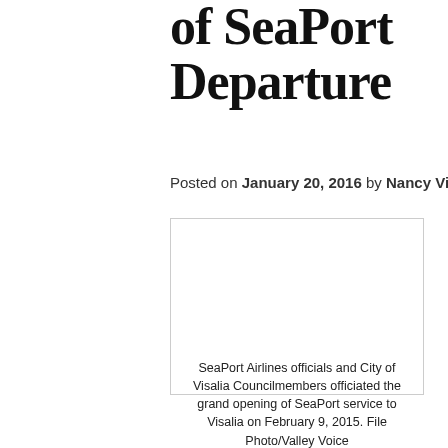of SeaPort Departure
Posted on January 20, 2016 by Nancy Vigran
[Figure (photo): Placeholder image area with border, showing SeaPort Airlines grand opening event]
SeaPort Airlines officials and City of Visalia Councilmembers officiated the grand opening of SeaPort service to Visalia on February 9, 2015. File Photo/Valley Voice